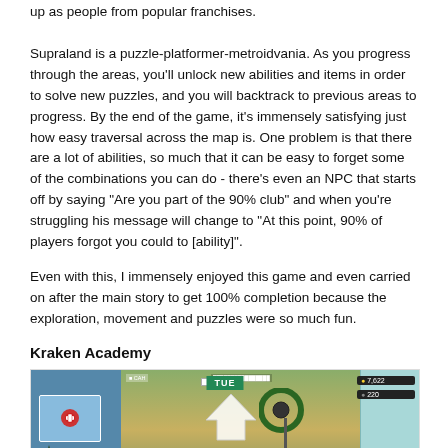up as people from popular franchises. Supraland is a puzzle-platformer-metroidvania. As you progress through the areas, you'll unlock new abilities and items in order to solve new puzzles, and you will backtrack to previous areas to progress. By the end of the game, it's immensely satisfying just how easy traversal across the map is. One problem is that there are a lot of abilities, so much that it can be easy to forget some of the combinations you can do - there's even an NPC that starts off by saying "Are you part of the 90% club" and when you're struggling his message will change to "At this point, 90% of players forgot you could to [ability]".
Even with this, I immensely enjoyed this game and even carried on after the main story to get 100% completion because the exploration, movement and puzzles were so much fun.
Kraken Academy
[Figure (screenshot): Screenshot of Kraken Academy game showing a side-scrolling game interface with a character, HUD elements including TUE day indicator, coin counts showing 7,622 and 220, a left panel with a blue card area, and a green/tan game world with an upward arrow.]